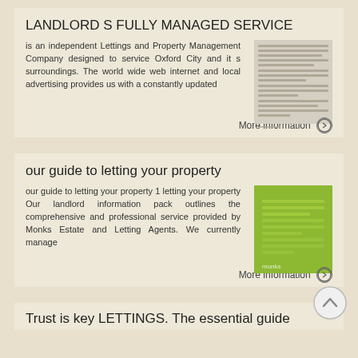LANDLORD S FULLY MANAGED SERVICE
is an independent Lettings and Property Management Company designed to service Oxford City and it s surroundings. The world wide web internet and local advertising provides us with a constantly updated
[Figure (illustration): Small thumbnail image of a document/text page]
More information →
our guide to letting your property
our guide to letting your property 1 letting your property Our landlord information pack outlines the comprehensive and professional service provided by Monks Estate and Letting Agents. We currently manage
[Figure (illustration): Green square thumbnail image with 'monks' branding text]
More information →
Trust is key LETTINGS. The essential guide